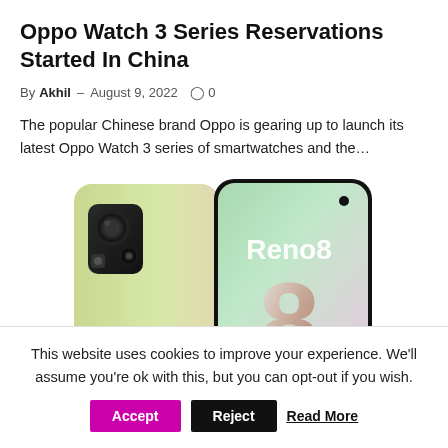Oppo Watch 3 Series Reservations Started In China
By Akhil – August 9, 2022 ○ 0
The popular Chinese brand Oppo is gearing up to launch its latest Oppo Watch 3 series of smartwatches and the...
[Figure (photo): OPPO Reno8 smartphone shown from back and front angles against a light gradient background]
This website uses cookies to improve your experience. We'll assume you're ok with this, but you can opt-out if you wish.
Accept | Reject | Read More